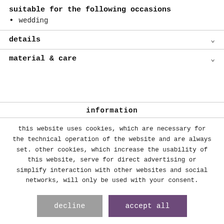suitable for the following occasions
wedding
details
material & care
information
this website uses cookies, which are necessary for the technical operation of the website and are always set. other cookies, which increase the usability of this website, serve for direct advertising or simplify interaction with other websites and social networks, will only be used with your consent.
decline
accept all